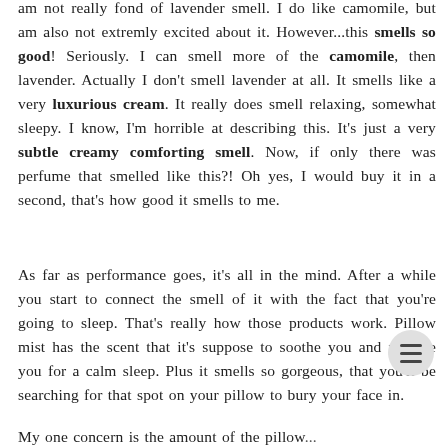am not really fond of lavender smell. I do like camomile, but am also not extremly excited about it. However...this smells so good! Seriously. I can smell more of the camomile, then lavender. Actually I don't smell lavender at all. It smells like a very luxurious cream. It really does smell relaxing, somewhat sleepy. I know, I'm horrible at describing this. It's just a very subtle creamy comforting smell. Now, if only there was perfume that smelled like this?! Oh yes, I would buy it in a second, that's how good it smells to me.
As far as performance goes, it's all in the mind. After a while you start to connect the smell of it with the fact that you're going to sleep. That's really how those products work. Pillow mist has the scent that it's suppose to soothe you and prepare you for a calm sleep. Plus it smells so gorgeous, that you'll be searching for that spot on your pillow to bury your face in.
My one concern is the amount of the pillow...